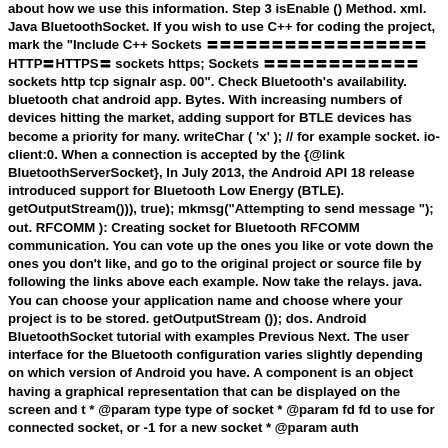about how we use this information. Step 3 isEnable () Method. xml. Java BluetoothSocket. If you wish to use C++ for coding the project, mark the "Include C++ Sockets 〓〓〓〓〓〓〓〓〓〓〓〓〓〓〓〓〓 HTTP〓HTTPS〓 sockets https; Sockets 〓〓〓〓〓〓〓〓〓〓〓〓 sockets http tcp signalr asp. 00". Check Bluetooth's availability. bluetooth chat android app. Bytes. With increasing numbers of devices hitting the market, adding support for BTLE devices has become a priority for many. writeChar ( 'x' ); // for example socket. io-client:0. When a connection is accepted by the {@link BluetoothServerSocket}, In July 2013, the Android API 18 release introduced support for Bluetooth Low Energy (BTLE). getOutputStream())), true); mkmsg("Attempting to send message "); out. RFCOMM ): Creating socket for Bluetooth RFCOMM communication. You can vote up the ones you like or vote down the ones you don't like, and go to the original project or source file by following the links above each example. Now take the relays. java. You can choose your application name and choose where your project is to be stored. getOutputStream ()); dos. Android BluetoothSocket tutorial with examples Previous Next. The user interface for the Bluetooth configuration varies slightly depending on which version of Android you have. A component is an object having a graphical representation that can be displayed on the screen and t * @param type type of socket * @param fd fd to use for connected socket, or -1 for a new socket * @param auth